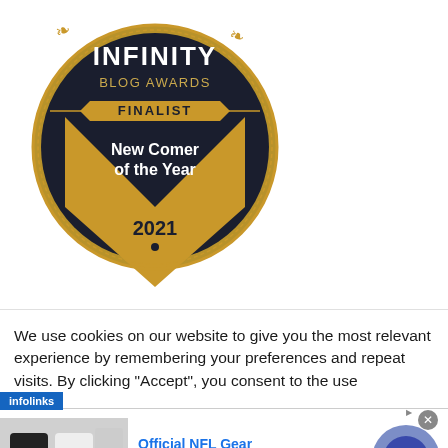[Figure (logo): Infinity Blog Awards Finalist badge — circular medal with gold and dark navy colors, featuring leaf/laurel decorations at top, banner reading FINALIST, text 'New Comer of the Year', and year 2021 with a gold chevron/arrow design.]
We use cookies on our website to give you the most relevant experience by remembering your preferences and repeat visits. By clicking “Accept”, you consent to the use
[Figure (screenshot): Infolinks advertisement bar showing 'Official NFL Gear — Get Your Favorite Team's Gear Here — www.nflshop.com' with a navigation arrow button and close button.]